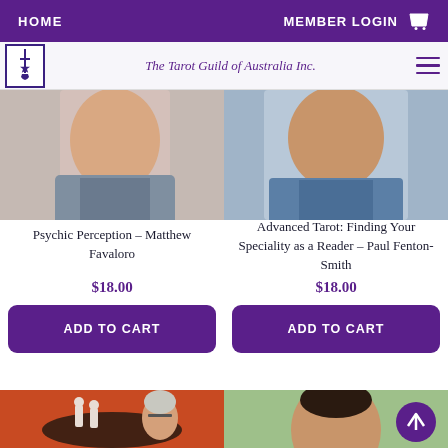HOME | MEMBER LOGIN
The Tarot Guild of Australia Inc.
[Figure (photo): Partial photo of Matthew Favaloro (left) and Paul Fenton-Smith (right) — cropped head/shoulder shots]
Psychic Perception – Matthew Favaloro
$18.00
ADD TO CART
Advanced Tarot: Finding Your Speciality as a Reader – Paul Fenton-Smith
$18.00
ADD TO CART
[Figure (photo): Bottom-left partial photo: woman with glasses at a table with figurines, red background]
[Figure (photo): Bottom-right partial photo: woman with dark hair, green background]